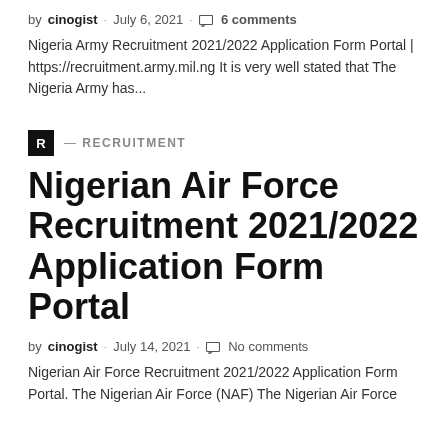by cinogist · July 6, 2021 · 6 comments
Nigeria Army Recruitment 2021/2022 Application Form Portal | https://recruitment.army.mil.ng It is very well stated that The Nigeria Army has...
R — RECRUITMENT
Nigerian Air Force Recruitment 2021/2022 Application Form Portal
by cinogist · July 14, 2021 · No comments
Nigerian Air Force Recruitment 2021/2022 Application Form Portal. The Nigerian Air Force (NAF) The Nigerian Air Force